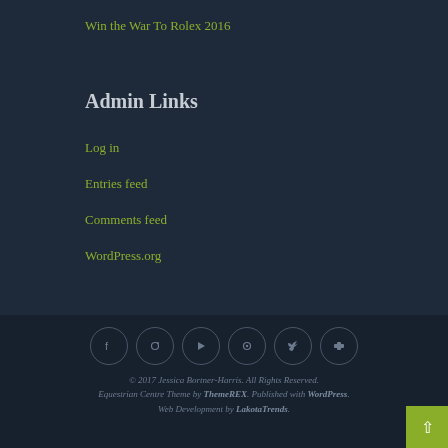Win the War To Rolex 2016
Admin Links
Log in
Entries feed
Comments feed
WordPress.org
[Figure (other): Six social media icon circles: Facebook, Instagram, YouTube, Pinterest, Twitter, Flickr]
© 2017 Jessica Bortner-Harris. All Rights Reserved. Equestrian Centre Theme by ThemeREX. Published with WordPress. Web Development by LakotaTrends.